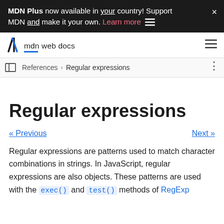MDN Plus now available in your country! Support MDN and make it your own. Learn more
mdn web docs
References > Regular expressions
Regular expressions
« Previous   Next »
Regular expressions are patterns used to match character combinations in strings. In JavaScript, regular expressions are also objects. These patterns are used with the exec() and test() methods of RegExp